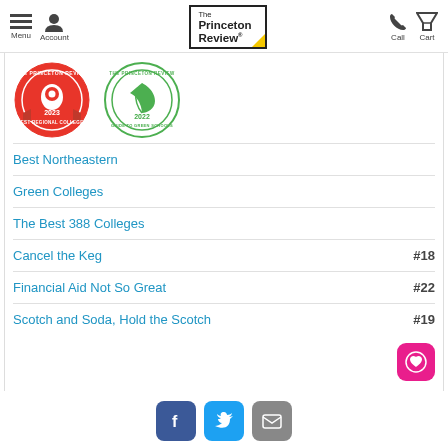Menu | Account | The Princeton Review | Call | Cart
[Figure (logo): The Princeton Review 2023 Best Regional Colleges circular badge (red) and 2022 Guide to Green Schools circular badge (green)]
Best Northeastern
Green Colleges
The Best 388 Colleges
Cancel the Keg #18
Financial Aid Not So Great #22
Scotch and Soda, Hold the Scotch #19
[Figure (logo): Pink heart/favorite button icon]
[Figure (logo): Social media icons: Facebook (blue), Twitter (light blue), Email (gray)]